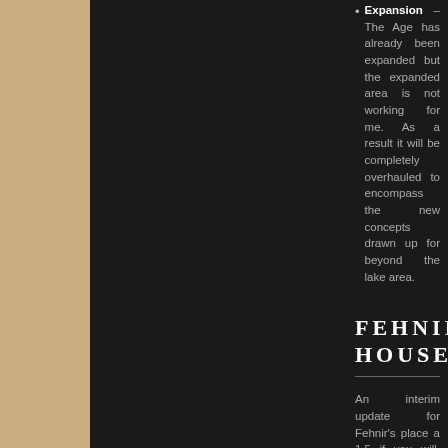Expansion – The Age has already been expanded but the expanded area is not working for me. As a result it will be completely overhauled to encompass the new concepts drawn up for beyond the lake area.
FEHNIR'S HOUSE
An interim update for Fehnir's place a 1.5 if you will. With the next main update (2.0 lets say) including the Linking Books for